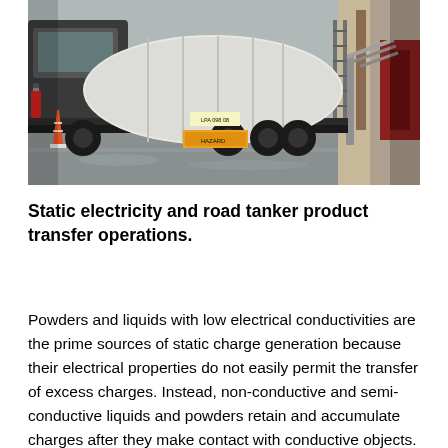[Figure (photo): A road tanker truck with a large white cylindrical tank, parked at a loading/unloading facility. A traffic cone is visible to the left, and industrial equipment including a ladder and metal structure is visible to the right. The ground is wet, suggesting rain.]
Static electricity and road tanker product transfer operations.
Powders and liquids with low electrical conductivities are the prime sources of static charge generation because their electrical properties do not easily permit the transfer of excess charges. Instead, non-conductive and semi-conductive liquids and powders retain and accumulate charges after they make contact with conductive objects. The most common interface for charging of non-conductive and semi-conductive product is contact with metal plant equipment including pipes, filters, pumps,